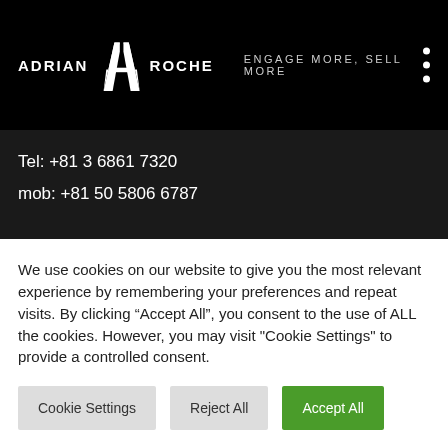ADRIAN [logo] ROCHE  ENGAGE MORE, SELL MORE
Tel: +81 3 6861 7320
mob: +81 50 5806 6787
JAPAN: FUKUOKA
2-6-11, Daimyo, Chuo-ku,
Fukuoka-city,
Fukuoka, Japan 810-0041
We use cookies on our website to give you the most relevant experience by remembering your preferences and repeat visits. By clicking “Accept All”, you consent to the use of ALL the cookies. However, you may visit "Cookie Settings" to provide a controlled consent.